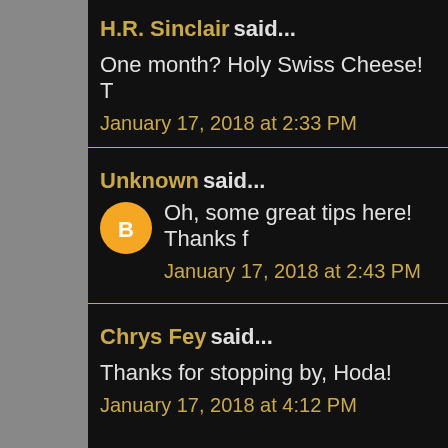H.R. Sinclair said...
One month? Holy Swiss Cheese! T
January 17, 2018 at 2:33 PM
Unknown said...
Oh, some great tips here! Thanks f
January 17, 2018 at 2:43 PM
Chrys Fey said...
Thanks for stopping by, Hoda!
January 17, 2018 at 4:12 PM